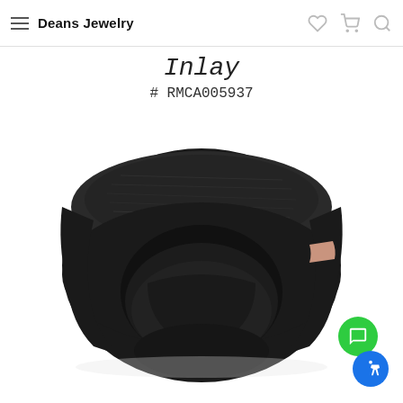Deans Jewelry
Inlay
# RMCA005937
[Figure (photo): A black tungsten ring with a rose gold inlay stripe running through the middle, viewed at a slight angle showing the rounded profile and hollow interior.]